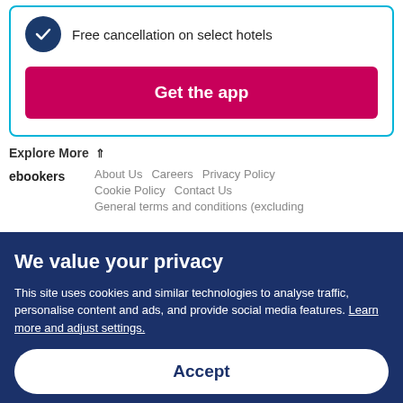Free cancellation on select hotels
Get the app
Explore More
ebookers
About Us
Careers
Privacy Policy
Cookie Policy
Contact Us
General terms and conditions (excluding
We value your privacy
This site uses cookies and similar technologies to analyse traffic, personalise content and ads, and provide social media features. Learn more and adjust settings.
Accept